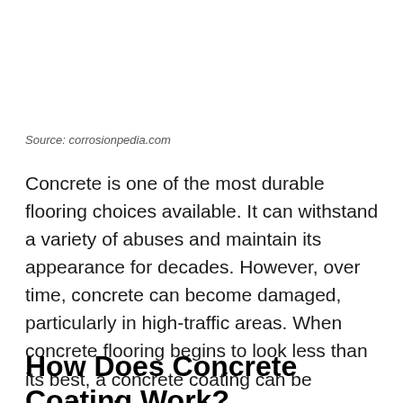Source: corrosionpedia.com
Concrete is one of the most durable flooring choices available. It can withstand a variety of abuses and maintain its appearance for decades. However, over time, concrete can become damaged, particularly in high-traffic areas. When concrete flooring begins to look less than its best, a concrete coating can be considered.
How Does Concrete Coating Work?